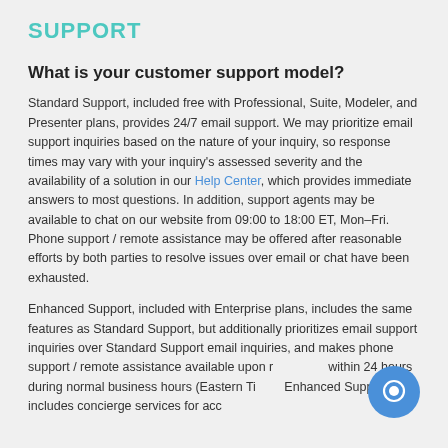SUPPORT
What is your customer support model?
Standard Support, included free with Professional, Suite, Modeler, and Presenter plans, provides 24/7 email support. We may prioritize email support inquiries based on the nature of your inquiry, so response times may vary with your inquiry's assessed severity and the availability of a solution in our Help Center, which provides immediate answers to most questions. In addition, support agents may be available to chat on our website from 09:00 to 18:00 ET, Mon–Fri. Phone support / remote assistance may be offered after reasonable efforts by both parties to resolve issues over email or chat have been exhausted.
Enhanced Support, included with Enterprise plans, includes the same features as Standard Support, but additionally prioritizes email support inquiries over Standard Support email inquiries, and makes phone support / remote assistance available upon request within 24 hours during normal business hours (Eastern Time). Enhanced Support also includes concierge services for account onboarding...